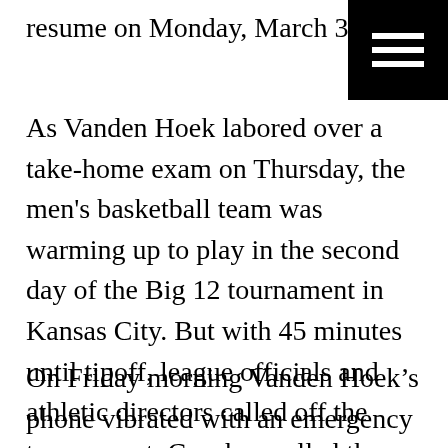resume on Monday, March 30.
[Figure (other): Hamburger menu icon — black square with three white horizontal lines]
As Vanden Hoek labored over a take-home exam on Thursday, the men's basketball team was warming up to play in the second day of the Big 12 tournament in Kansas City. But with 45 minutes until tipoff, league officials and athletic directors called off the tournament. Coaches pulled the athletes off the court and told them to pack for an afternoon flight back to Austin. Later that day, the NCAA canceled all winter and spring championships.
On Friday morning Vanden Hoek’s phone vibrated with an emergency text from UT, canceling the day’s classes. His stomach dropped: Hart had been right.